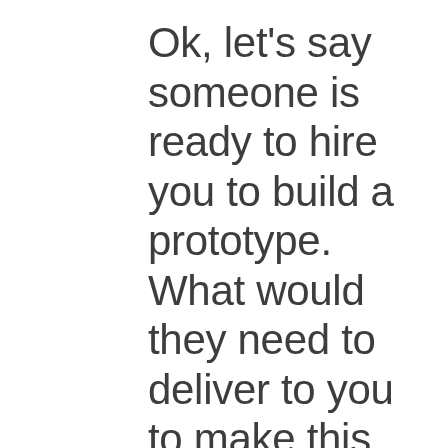Ok, let's say someone is ready to hire you to build a prototype. What would they need to deliver to you to make this process go as smooth as possible and create the best